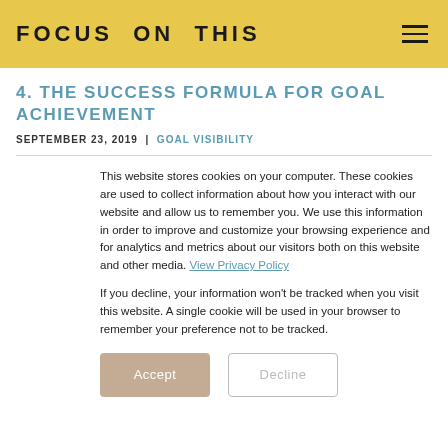FOCUS ON THIS
4. THE SUCCESS FORMULA FOR GOAL ACHIEVEMENT
SEPTEMBER 23, 2019 | GOAL VISIBILITY
This website stores cookies on your computer. These cookies are used to collect information about how you interact with our website and allow us to remember you. We use this information in order to improve and customize your browsing experience and for analytics and metrics about our visitors both on this website and other media. View Privacy Policy
If you decline, your information won't be tracked when you visit this website. A single cookie will be used in your browser to remember your preference not to be tracked.
Accept | Decline